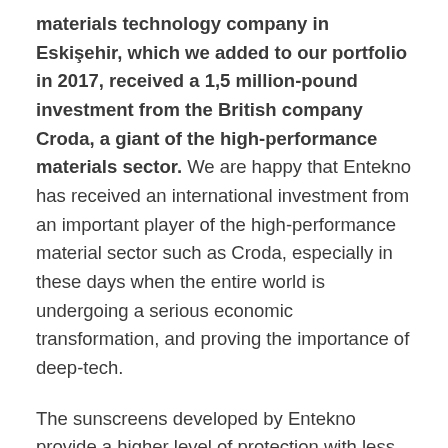materials technology company in Eskişehir, which we added to our portfolio in 2017, received a 1,5 million-pound investment from the British company Croda, a giant of the high-performance materials sector. We are happy that Entekno has received an international investment from an important player of the high-performance material sector such as Croda, especially in these days when the entire world is undergoing a serious economic transformation, and proving the importance of deep-tech.
The sunscreens developed by Entekno provide a higher level of protection with less active materials thanks to their active UV protection effect, also prevent the forming of visible residue on the skin with their...